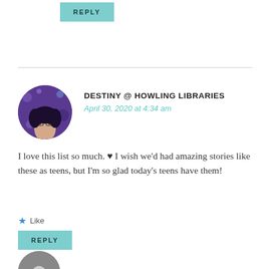REPLY (button, top)
DESTINY @ HOWLING LIBRARIES
April 30, 2020 at 4:34 am
I love this list so much. ♥ I wish we'd had amazing stories like these as teens, but I'm so glad today's teens have them!
★ Like
REPLY (button, bottom)